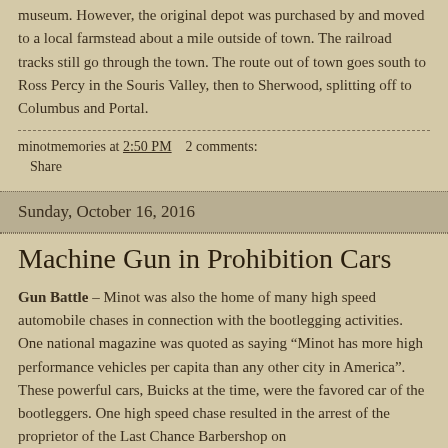museum. However, the original depot was purchased by and moved to a local farmstead about a mile outside of town. The railroad tracks still go through the town. The route out of town goes south to Ross Percy in the Souris Valley, then to Sherwood, splitting off to Columbus and Portal.
minotmemories at 2:50 PM   2 comments:
Share
Sunday, October 16, 2016
Machine Gun in Prohibition Cars
Gun Battle – Minot was also the home of many high speed automobile chases in connection with the bootlegging activities. One national magazine was quoted as saying "Minot has more high performance vehicles per capita than any other city in America". These powerful cars, Buicks at the time, were the favored car of the bootleggers. One high speed chase resulted in the arrest of the proprietor of the Last Chance Barbershop on